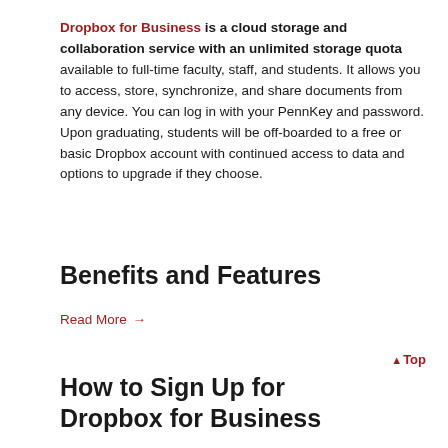Dropbox for Business is a cloud storage and collaboration service with an unlimited storage quota available to full-time faculty, staff, and students. It allows you to access, store, synchronize, and share documents from any device. You can log in with your PennKey and password. Upon graduating, students will be off-boarded to a free or basic Dropbox account with continued access to data and options to upgrade if they choose.
Benefits and Features
Read More →
How to Sign Up for Dropbox for Business